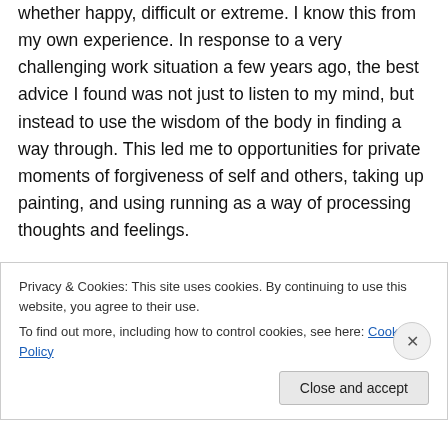whether happy, difficult or extreme. I know this from my own experience. In response to a very challenging work situation a few years ago, the best advice I found was not just to listen to my mind, but instead to use the wisdom of the body in finding a way through. This led me to opportunities for private moments of forgiveness of self and others, taking up painting, and using running as a way of processing thoughts and feelings.
Through my coaching, I believe physicality can open the door to emotionality and thus to new insights. When I'm feeling tired or stressed, my shoulders bunch up; noticing
Privacy & Cookies: This site uses cookies. By continuing to use this website, you agree to their use.
To find out more, including how to control cookies, see here: Cookie Policy